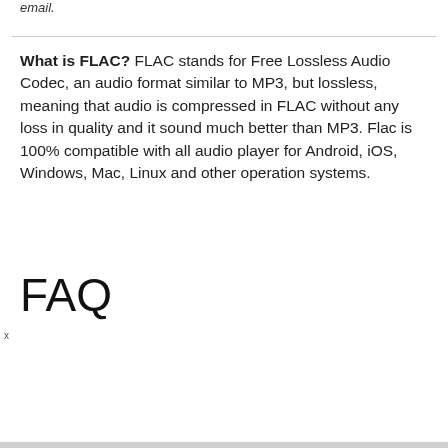email.
What is FLAC? FLAC stands for Free Lossless Audio Codec, an audio format similar to MP3, but lossless, meaning that audio is compressed in FLAC without any loss in quality and it sound much better than MP3. Flac is 100% compatible with all audio player for Android, iOS, Windows, Mac, Linux and other operation systems.
FAQ
[Figure (other): Audio player widget showing 'Impossible by John Foxx & Louis Gordon' with speaker icon, playback controls (previous, play, next), and time displays showing 00:00:00 on both sides]